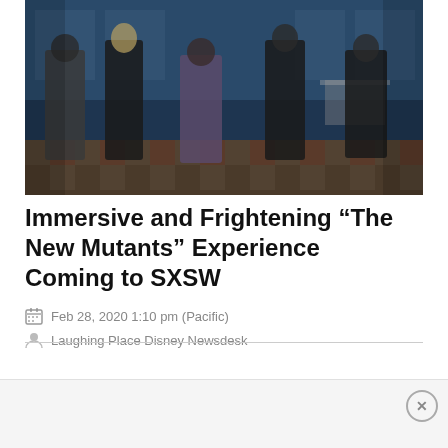[Figure (photo): Movie still from 'The New Mutants' showing five young characters standing in a dark room with a checkered floor, wearing casual/dark clothing]
Immersive and Frightening “The New Mutants” Experience Coming to SXSW
Feb 28, 2020 1:10 pm (Pacific)
Laughing Place Disney Newsdesk